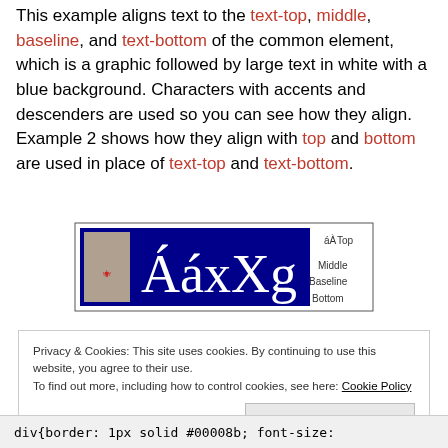This example aligns text to the text-top, middle, baseline, and text-bottom of the common element, which is a graphic followed by large text in white with a blue background. Characters with accents and descenders are used so you can see how they align. Example 2 shows how they align with top and bottom are used in place of text-top and text-bottom.
[Figure (illustration): Diagram showing vertical alignment labels: a box with blue background displaying 'ÁáxXg' in large white text with a small image to the left, and labels 'áÀ Top', 'Middle', 'Baseline', 'Bottom' to the right indicating vertical alignment positions.]
Privacy & Cookies: This site uses cookies. By continuing to use this website, you agree to their use. To find out more, including how to control cookies, see here: Cookie Policy
div{border: 1px solid #00008b; font-size: